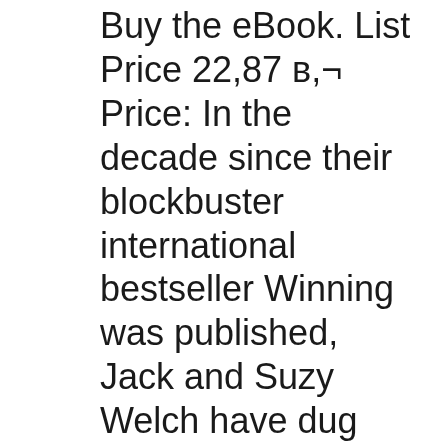Buy the eBook. List Price 22,87 в,¬ Price: In the decade since their blockbuster international bestseller Winning was published, Jack and Suzy Welch have dug deeper into business, traveling the world consulting to organizations of every size and in every industry, speaking before hundreds of audiences, working closely with entrepreneurs from Mumbai to Silicon Valley, and, in 2010, starting Buy the eBook. List Price 22,87 в,¬ Price: In the decade since their blockbuster international bestseller Winning was published, Jack and Suzy Welch have dug deeper into business, traveling the world consulting to organizations of every size and in every industry,